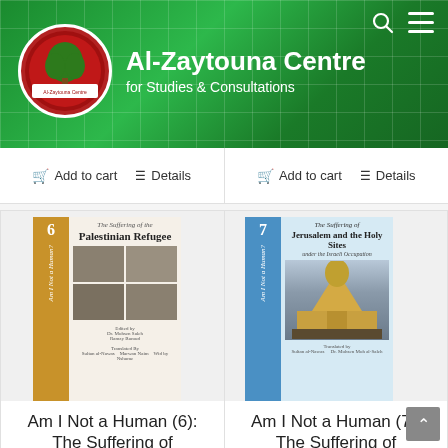Al-Zaytouna Centre for Studies & Consultations
Add to cart   Details   Add to cart   Details
[Figure (photo): Book cover: Am I Not a Human (6): The Suffering of the Palestinian Refugee]
Am I Not a Human (6): The Suffering of
[Figure (photo): Book cover: Am I Not a Human (7): The Suffering of Jerusalem and the Holy Sites under the Israeli Occupation]
Am I Not a Human (7): The Suffering of